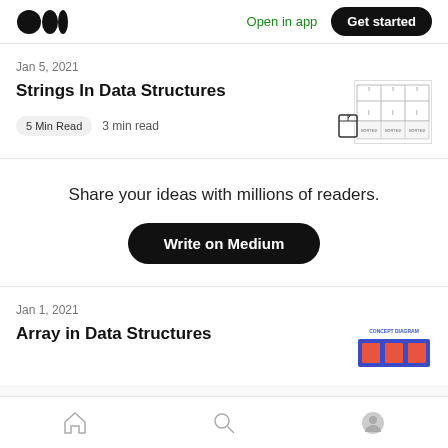Open in app | Get started
Jan 5, 2021
Strings In Data Structures
5 Min Read   3 min read
[Figure (illustration): Thumbnail showing a data structure table/grid diagram with columns labeled SORTED, SORTED, SORTED]
Share your ideas with millions of readers.
Write on Medium
Jan 1, 2021
Array in Data Structures
[Figure (illustration): Thumbnail showing a concept diagram with blue and orange blocks labeled CONCEPT DIAGRAM]
Home | Search | Profile